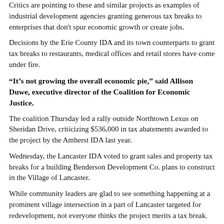Critics are pointing to these and similar projects as examples of industrial development agencies granting generous tax breaks to enterprises that don't spur economic growth or create jobs.
Decisions by the Erie County IDA and its town counterparts to grant tax breaks to restaurants, medical offices and retail stores have come under fire.
“It’s not growing the overall economic pie,” said Allison Duwe, executive director of the Coalition for Economic Justice.
The coalition Thursday led a rally outside Northtown Lexus on Sheridan Drive, criticizing $536,000 in tax abatements awarded to the project by the Amherst IDA last year.
Wednesday, the Lancaster IDA voted to grant sales and property tax breaks for a building Benderson Development Co. plans to construct in the Village of Lancaster.
While community leaders are glad to see something happening at a prominent village intersection in a part of Lancaster targeted for redevelopment, not everyone thinks the project merits a tax break.